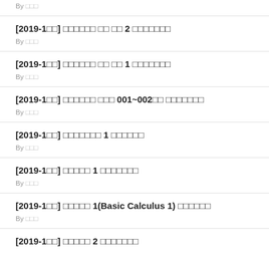By □□□
[2019-1□□] □□□□□□ □□ □□ 2 □□□□□□□
By □□□
[2019-1□□] □□□□□□ □□ □□ 1 □□□□□□□
By □□□
[2019-1□□] □□□□□□ □□□ 001~002□□ □□□□□□□
By □□□
[2019-1□□] □□□□□□□ 1 □□□□□□
By □□□
[2019-1□□] □□□□□ 1 □□□□□□□
By □□□
[2019-1□□] □□□□□ 1(Basic Calculus 1) □□□□□□
By □□□
[2019-1□□] □□□□□ 2 □□□□□□□